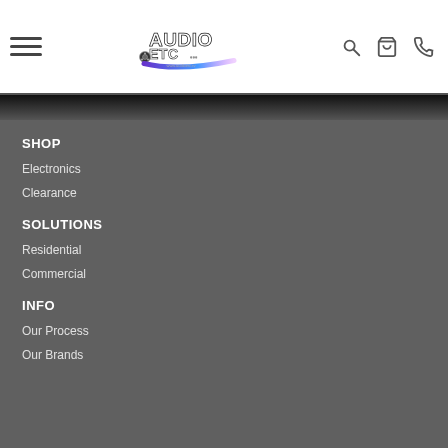[Figure (logo): Audio ETC logo with film reel and swoosh, www.audioetc.tv]
SHOP
Electronics
Clearance
SOLUTIONS
Residential
Commercial
INFO
Our Process
Our Brands